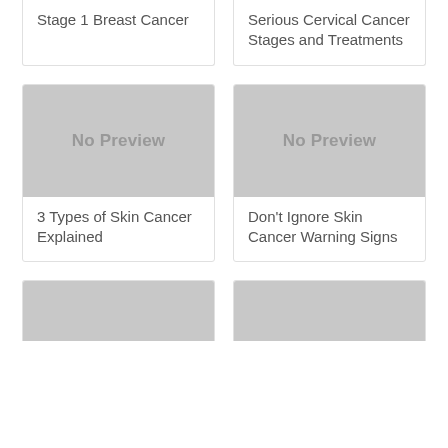Stage 1 Breast Cancer
Serious Cervical Cancer Stages and Treatments
[Figure (other): No Preview placeholder image]
3 Types of Skin Cancer Explained
[Figure (other): No Preview placeholder image]
Don't Ignore Skin Cancer Warning Signs
[Figure (other): Partial card image, cropped at bottom]
[Figure (other): Partial card image, cropped at bottom]